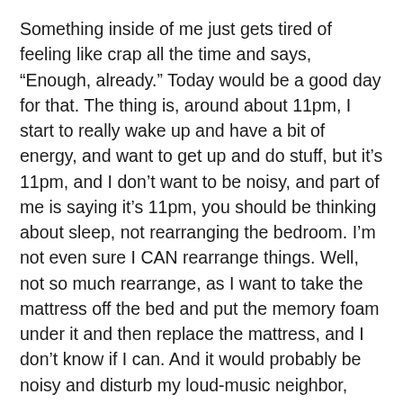Something inside of me just gets tired of feeling like crap all the time and says, “Enough, already.” Today would be a good day for that. The thing is, around about 11pm, I start to really wake up and have a bit of energy, and want to get up and do stuff, but it’s 11pm, and I don’t want to be noisy, and part of me is saying it’s 11pm, you should be thinking about sleep, not rearranging the bedroom. I’m not even sure I CAN rearrange things. Well, not so much rearrange, as I want to take the mattress off the bed and put the memory foam under it and then replace the mattress, and I don’t know if I can. And it would probably be noisy and disturb my loud-music neighbor, which I don’t want to do.
Wow, this is kind of ‘poor me’ whiny stuff, isn’t it. I do try not to go there, but sometimes you just have to do what you just have to do, right?